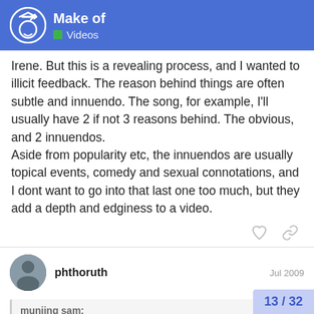Make of — Videos
Irene. But this is a revealing process, and I wanted to illicit feedback. The reason behind things are often subtle and innuendo. The song, for example, I'll usually have 2 if not 3 reasons behind. The obvious, and 2 innuendos.
Aside from popularity etc, the innuendos are usually topical events, comedy and sexual connotations, and I dont want to go into that last one too much, but they add a depth and edginess to a video.
phthoruth — Jul 2009
muniing sam:
I like the first video with the giraffe the most, but it was a bit long, I like how you used the comic boo
13 / 32